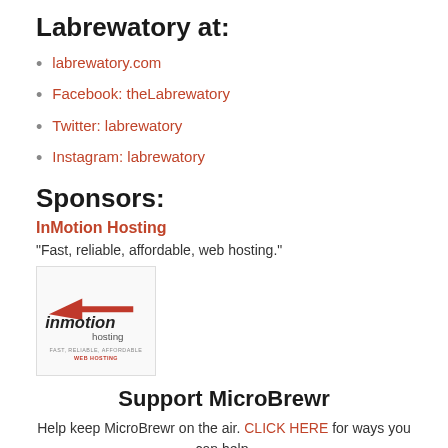Labrewatory at:
labrewatory.com
Facebook: theLabrewatory
Twitter: labrewatory
Instagram: labrewatory
Sponsors:
InMotion Hosting
“Fast, reliable, affordable, web hosting.”
[Figure (logo): InMotion Hosting logo with tagline: FAST, RELIABLE, AFFORDABLE WEB HOSTING]
Support MicroBrewr
Help keep MicroBrewr on the air. CLICK HERE for ways you can help.